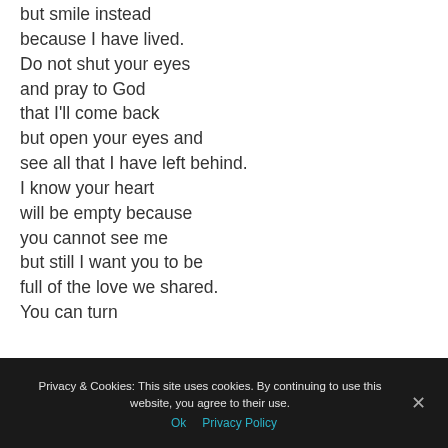but smile instead
because I have lived.
Do not shut your eyes
and pray to God
that I'll come back
but open your eyes and
see all that I have left behind.
I know your heart
will be empty because
you cannot see me
but still I want you to be
full of the love we shared.
You can turn
Privacy & Cookies: This site uses cookies. By continuing to use this website, you agree to their use.
Ok   Privacy Policy